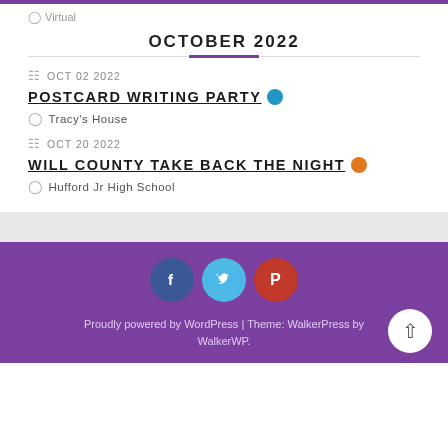Virtual
OCTOBER 2022
OCT 02 2022
POSTCARD WRITING PARTY
Tracy's House
OCT 20 2022
WILL COUNTY TAKE BACK THE NIGHT
Hufford Jr High School
Proudly powered by WordPress | Theme: WalkerPress by WalkerWP.